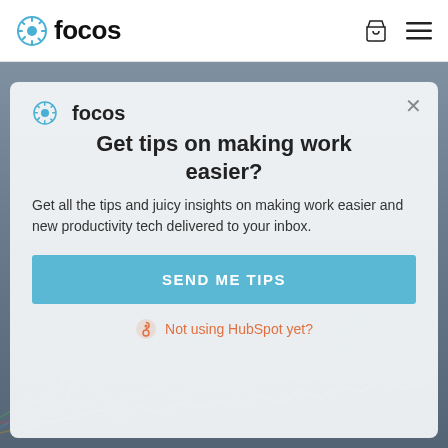focos
[Figure (screenshot): Background screenshot of a productivity/analytics dashboard with a line chart showing multiple colored data series over time, partially obscured by a modal popup overlay.]
Get tips on making work easier?
Get all the tips and juicy insights on making work easier and new productivity tech delivered to your inbox.
SEND ME TIPS
Not using HubSpot yet?